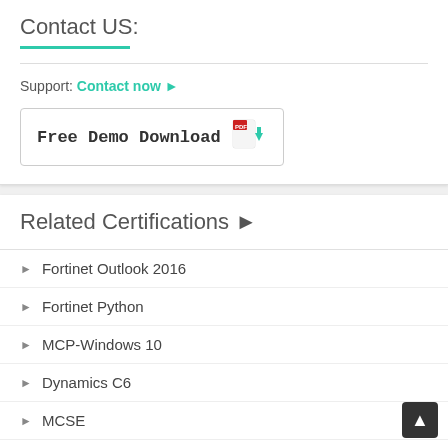Contact US:
Support: Contact now →
[Figure (other): Free Demo Download button with PDF icon and green download arrow]
Related Certifications →
Fortinet Outlook 2016
Fortinet Python
MCP-Windows 10
Dynamics C6
MCSE
More ...